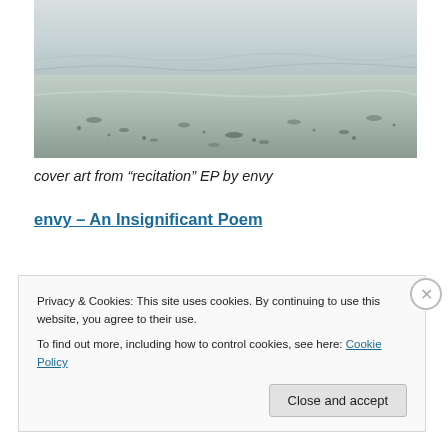[Figure (photo): Black and white photo of a rocky or sandy shoreline with rippling water, used as cover art for the 'recitation' EP by envy]
cover art from “recitation” EP by envy
envy – An Insignificant Poem
Privacy & Cookies: This site uses cookies. By continuing to use this website, you agree to their use.
To find out more, including how to control cookies, see here: Cookie Policy